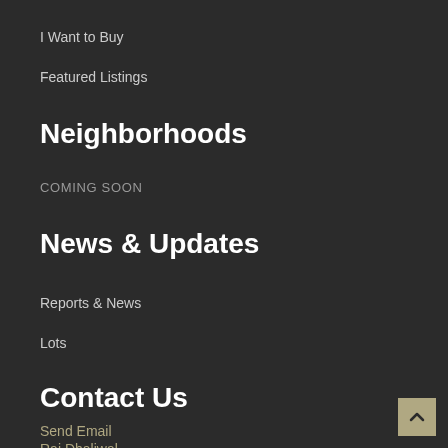I Want to Buy
Featured Listings
Neighborhoods
COMING SOON
News & Updates
Reports & News
Lots
Contact Us
Send Email
Raj Dhaliwal